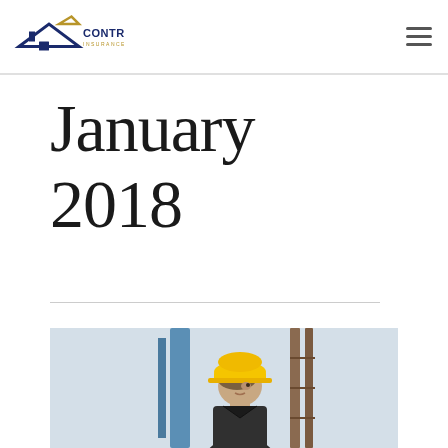Contractors Insurance Agency
January 2018
[Figure (photo): Construction worker wearing a yellow hard hat looking upward, at a construction site with scaffolding and blue elements in the background]